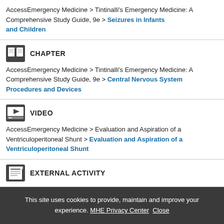AccessEmergency Medicine > Tintinalli's Emergency Medicine: A Comprehensive Study Guide, 9e > Seizures in Infants and Children
CHAPTER
AccessEmergency Medicine > Tintinalli's Emergency Medicine: A Comprehensive Study Guide, 9e > Central Nervous System Procedures and Devices
VIDEO
AccessEmergency Medicine > Evaluation and Aspiration of a Ventriculoperitoneal Shunt > Evaluation and Aspiration of a Ventriculoperitoneal Shunt
EXTERNAL ACTIVITY
This site uses cookies to provide, maintain and improve your experience. MHE Privacy Center Close